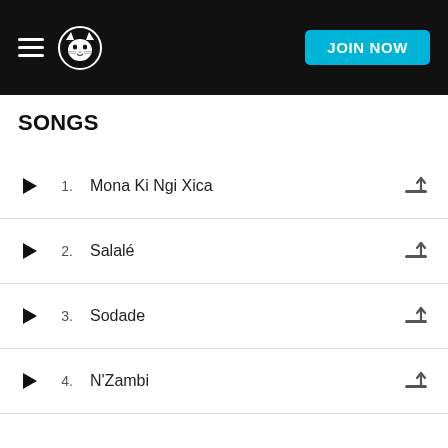[Figure (screenshot): Napster app header with hamburger menu, Napster cat logo, and JOIN NOW button on black background]
SONGS
1. Mona Ki Ngi Xica
2. Salalé
3. Sodade
4. N'Zambi